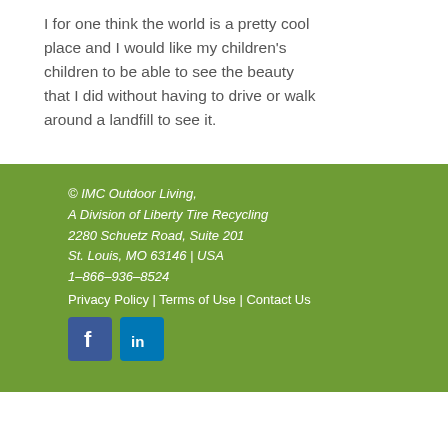I for one think the world is a pretty cool place and I would like my children's children to be able to see the beauty that I did without having to drive or walk around a landfill to see it.
© IMC Outdoor Living, A Division of Liberty Tire Recycling
2280 Schuetz Road, Suite 201
St. Louis, MO 63146 | USA
1–866–936–8524
Privacy Policy | Terms of Use | Contact Us